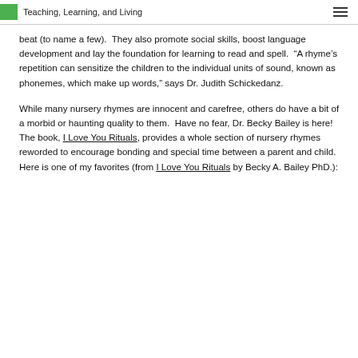Teaching, Learning, and Living
beat (to name a few).  They also promote social skills, boost language development and lay the foundation for learning to read and spell.  “A rhyme’s repetition can sensitize the children to the individual units of sound, known as phonemes, which make up words,” says Dr. Judith Schickedanz.
While many nursery rhymes are innocent and carefree, others do have a bit of a morbid or haunting quality to them.  Have no fear, Dr. Becky Bailey is here!  The book, I Love You Rituals, provides a whole section of nursery rhymes reworded to encourage bonding and special time between a parent and child.  Here is one of my favorites (from I Love You Rituals by Becky A. Bailey PhD.):